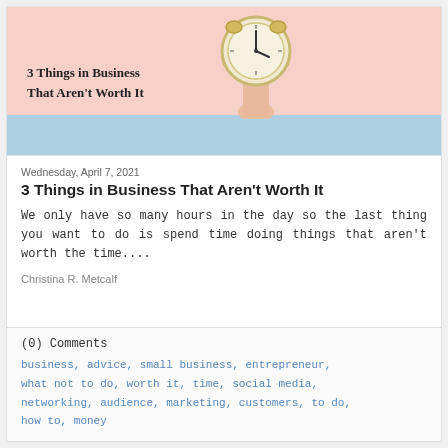[Figure (illustration): Blog post header image with pink background, a hand holding an alarm clock, and bold text reading '3 Things in Business That Aren't Worth It' over a light blue bar at the bottom.]
Wednesday, April 7, 2021
3 Things in Business That Aren't Worth It
We only have so many hours in the day so the last thing you want to do is spend time doing things that aren't worth the time....
Christina R. Metcalf
(0) Comments
business, advice, small business, entrepreneur, what not to do, worth it, time, social media, networking, audience, marketing, customers, to do, how to, money